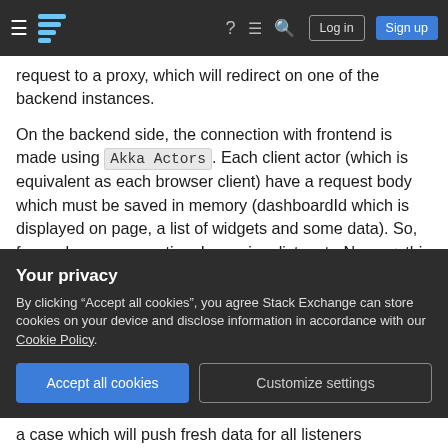Stack Exchange navigation bar with hamburger menu, logo, help, chat, search icons, Log in and Sign up buttons
request to a proxy, which will redirect on one of the backend instances.

On the backend side, the connection with frontend is made using Akka Actors. Each client actor (which is equivalent as each browser client) have a request body which must be saved in memory (dashboardId which is displayed on page, a list of widgets and some data). So, for each new connection, I save in a list: actorName + this request body. To centralize the data from all backend instances, I save this list on a Redis
Your privacy
By clicking "Accept all cookies", you agree Stack Exchange can store cookies on your device and disclose information in accordance with our Cookie Policy.
Accept all cookies   Customize settings
a case which will push fresh data for all listeners